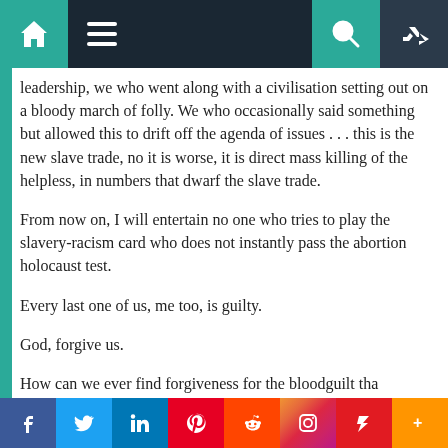Navigation bar with home, menu, search, and random icons
leadership, we who went along with a civilisation setting out on a bloody march of folly. We who occasionally said something but allowed this to drift off the agenda of issues . . . this is the new slave trade, no it is worse, it is direct mass killing of the helpless, in numbers that dwarf the slave trade.
From now on, I will entertain no one who tries to play the slavery-racism card who does not instantly pass the abortion holocaust test.
Every last one of us, me too, is guilty.
God, forgive us.
How can we ever find forgiveness for the bloodguilt tha…
Social share bar: Facebook, Twitter, LinkedIn, Pinterest, Reddit, Instagram, Flipboard, More